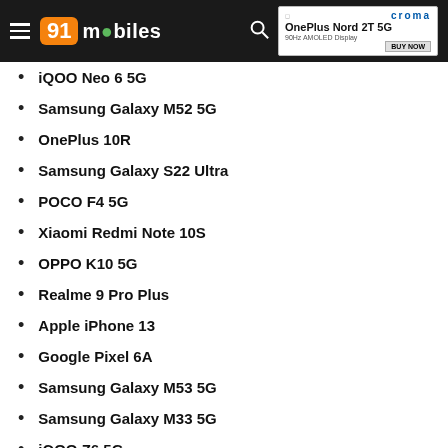91mobiles
iQOO Neo 6 5G
Samsung Galaxy M52 5G
OnePlus 10R
Samsung Galaxy S22 Ultra
POCO F4 5G
Xiaomi Redmi Note 10S
OPPO K10 5G
Realme 9 Pro Plus
Apple iPhone 13
Google Pixel 6A
Samsung Galaxy M53 5G
Samsung Galaxy M33 5G
iQOO Z6 5G
[Figure (infographic): realme 9i 5G advertisement banner: DIMENSITY 810 5G CHIPSET | LASER LIGHT DESIGN]